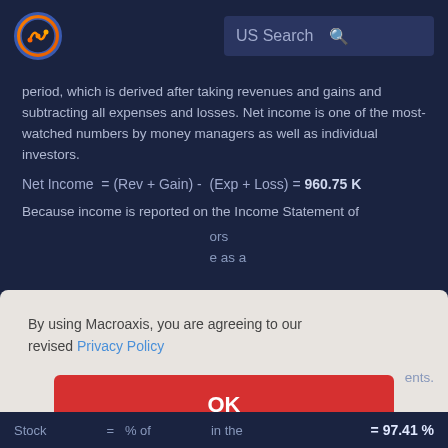US Search
period, which is derived after taking revenues and gains and subtracting all expenses and losses. Net income is one of the most-watched numbers by money managers as well as individual investors.
Because income is reported on the Income Statement of
By using Macroaxis, you are agreeing to our revised Privacy Policy
OK
Stock = % of in the = 97.41 %